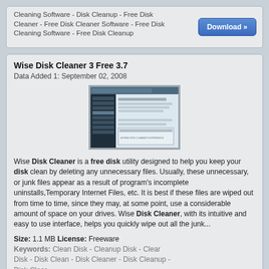Cleaning Software - Disk Cleanup - Free Disk Cleaner - Free Disk Cleaner Software - Free Disk Cleaning Software - Free Disk Cleanup
[Figure (screenshot): Screenshot of Wise Disk Cleaner 3 software interface showing a dark left panel and a white right panel with text]
Wise Disk Cleaner 3 Free 3.7
Data Added 1: September 02, 2008
Wise Disk Cleaner is a free disk utility designed to help you keep your disk clean by deleting any unnecessary files. Usually, these unnecessary, or junk files appear as a result of program's incomplete uninstalls,Temporary Internet Files, etc. It is best if these files are wiped out from time to time, since they may, at some point, use a considerable amount of space on your drives. Wise Disk Cleaner, with its intuitive and easy to use interface, helps you quickly wipe out all the junk...
Size: 1.1 MB License: Freeware
Keywords: Clean Disk - Cleanup Disk - Clear Disk - Disk Clean - Disk Cleaner - Disk Cleanup - Disk Clear
Wise Disk Cleaner Free 5.81
Data Added 1: December 29, 2010